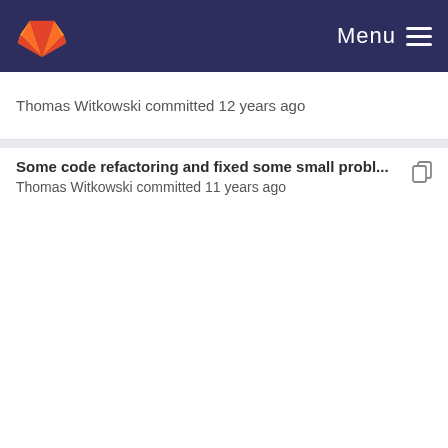Menu
Thomas Witkowski committed 12 years ago
Some code refactoring and fixed some small probl...
Thomas Witkowski committed 11 years ago
Work on parallelization.
Thomas Witkowski committed 11 years ago
Some code refactoring and fixed some small probl...
Thomas Witkowski committed 11 years ago